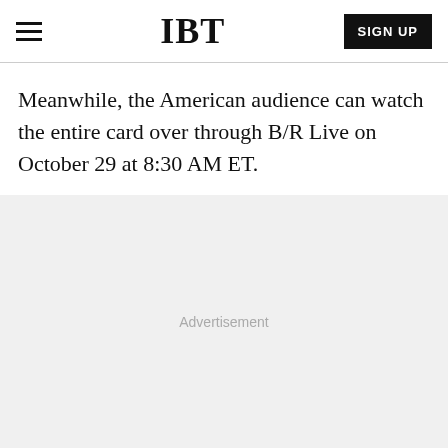IBT  SIGN UP
Meanwhile, the American audience can watch the entire card over through B/R Live on October 29 at 8:30 AM ET.
[Figure (other): Advertisement placeholder area with light gray background and 'Advertisement' label text centered.]